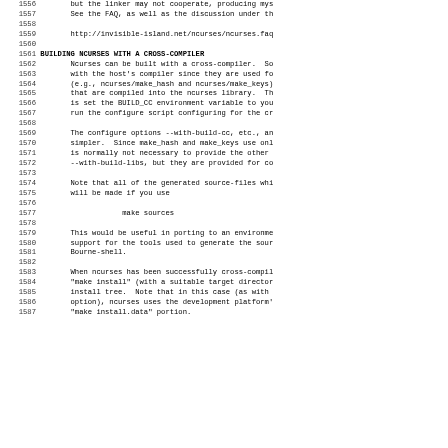1556-1587: Source code documentation lines about building ncurses with a cross-compiler
BUILDING NCURSES WITH A CROSS-COMPILER
Ncurses can be built with a cross-compiler. So... with the host's compiler since they are used fo... (e.g., ncurses/make_hash and ncurses/make_keys)... that are compiled into the ncurses library. Th... is set the BUILD_CC environment variable to you... run the configure script configuring for the cr...
The configure options --with-build-cc, etc., an... simpler. Since make_hash and make_keys use onl... is normally not necessary to provide the other ... --with-build-libs, but they are provided for co...
Note that all of the generated source-files whi... will be made if you use
make sources
This would be useful in porting to an environme... support for the tools used to generate the sour... Bourne-shell.
When ncurses has been successfully cross-compil... "make install" (with a suitable target director... install tree. Note that in this case (as with ... option), ncurses uses the development platform'... "make install.data" portion.